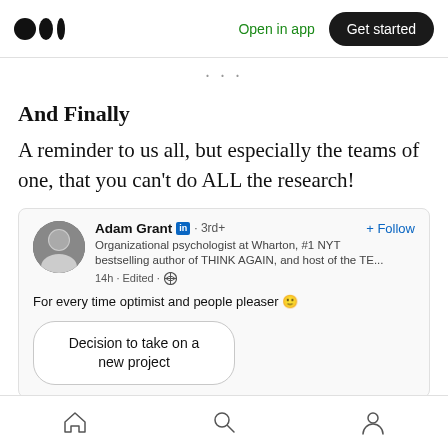Medium — Open in app | Get started
And Finally
A reminder to us all, but especially the teams of one, that you can't do ALL the research!
[Figure (screenshot): LinkedIn post by Adam Grant (Organizational psychologist at Wharton, #1 NYT bestselling author of THINK AGAIN, and host of the TE...) — 14h · Edited · globe icon. Post text: 'For every time optimist and people pleaser 😊'. Below: a pill/bubble labeled 'Decision to take on a new project'.]
Home | Search | Profile — bottom navigation bar